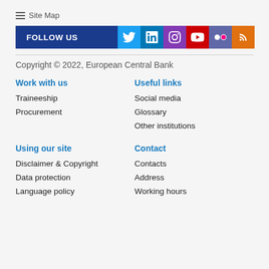☰ Site Map
[Figure (infographic): FOLLOW US bar with social media icons: Twitter, LinkedIn, Instagram, YouTube, Flickr, RSS]
Copyright © 2022, European Central Bank
Work with us
Traineeship
Procurement
Useful links
Social media
Glossary
Other institutions
Using our site
Disclaimer & Copyright
Data protection
Language policy
Contact
Contacts
Address
Working hours